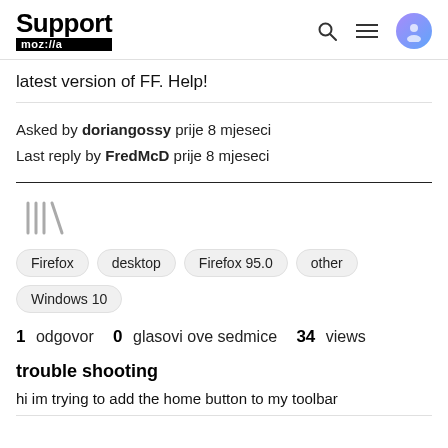Support moz://a
latest version of FF. Help!
Asked by doriangossy prije 8 mjeseci
Last reply by FredMcD prije 8 mjeseci
[Figure (illustration): Library/bookmark icon in light gray]
Firefox
desktop
Firefox 95.0
other
Windows 10
1 odgovor   0 glasovi ove sedmice   34 views
trouble shooting
hi im trying to add the home button to my toolbar